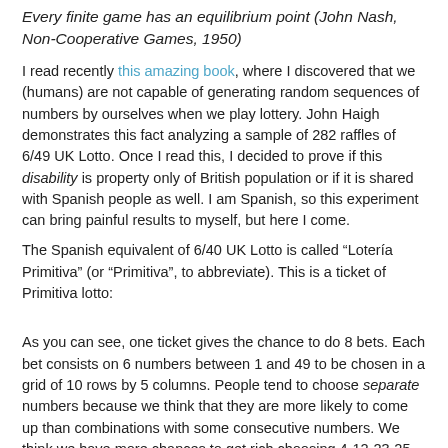Every finite game has an equilibrium point (John Nash, Non-Cooperative Games, 1950)
I read recently this amazing book, where I discovered that we (humans) are not capable of generating random sequences of numbers by ourselves when we play lottery. John Haigh demonstrates this fact analyzing a sample of 282 raffles of 6/49 UK Lotto. Once I read this, I decided to prove if this disability is property only of British population or if it is shared with Spanish people as well. I am Spanish, so this experiment can bring painful results to myself, but here I come.
The Spanish equivalent of 6/40 UK Lotto is called “Lotería Primitiva” (or “Primitiva”, to abbreviate). This is a ticket of Primitiva lotto:
As you can see, one ticket gives the chance to do 8 bets. Each bet consists on 6 numbers between 1 and 49 to be chosen in a grid of 10 rows by 5 columns. People tend to choose separate numbers because we think that they are more likely to come up than combinations with some consecutive numbers. We think we have more chances to get rich choosing 4-12-23-25-31-43 rather than 3-17-18-19-32-33, for instance. To be honest, I should recognize I am one of these persons.
Primitiva lotto is managed by Sociedad Estatal Loterías y Apuestas del